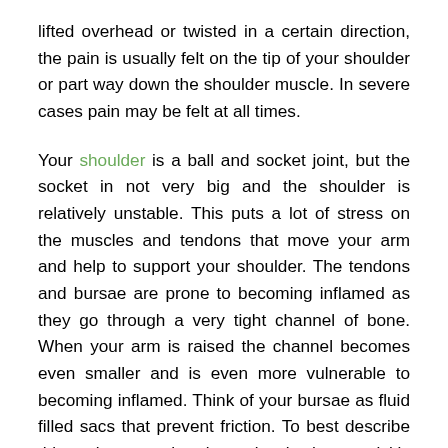lifted overhead or twisted in a certain direction, the pain is usually felt on the tip of your shoulder or part way down the shoulder muscle. In severe cases pain may be felt at all times.
Your shoulder is a ball and socket joint, but the socket in not very big and the shoulder is relatively unstable. This puts a lot of stress on the muscles and tendons that move your arm and help to support your shoulder. The tendons and bursae are prone to becoming inflamed as they go through a very tight channel of bone. When your arm is raised the channel becomes even smaller and is even more vulnerable to becoming inflamed. Think of your bursae as fluid filled sacs that prevent friction. To best describe this, take your hands and rub them quickly together. This creates heat from the friction of your hands. Now imagine that you place a zip lock plastic bag containing a few drops of oil, between your hands and